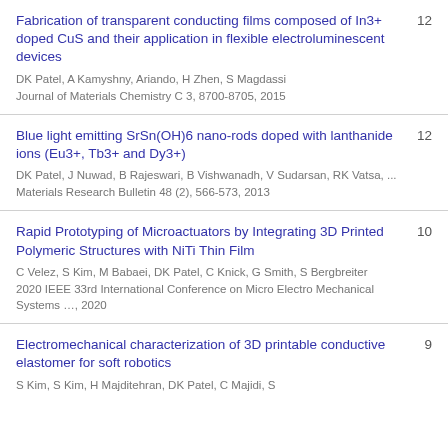Fabrication of transparent conducting films composed of In3+ doped CuS and their application in flexible electroluminescent devices | DK Patel, A Kamyshny, Ariando, H Zhen, S Magdassi | Journal of Materials Chemistry C 3, 8700-8705, 2015 | 12
Blue light emitting SrSn(OH)6 nano-rods doped with lanthanide ions (Eu3+, Tb3+ and Dy3+) | DK Patel, J Nuwad, B Rajeswari, B Vishwanadh, V Sudarsan, RK Vatsa, ... | Materials Research Bulletin 48 (2), 566-573, 2013 | 12
Rapid Prototyping of Microactuators by Integrating 3D Printed Polymeric Structures with NiTi Thin Film | C Velez, S Kim, M Babaei, DK Patel, C Knick, G Smith, S Bergbreiter | 2020 IEEE 33rd International Conference on Micro Electro Mechanical Systems ..., 2020 | 10
Electromechanical characterization of 3D printable conductive elastomer for soft robotics | S Kim, S Kim, H Majditehran, DK Patel, C Majidi, S